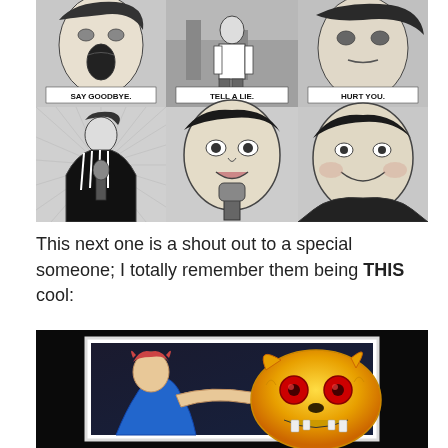[Figure (illustration): Black and white manga/comic style 6-panel grid showing Rick Astley. Top row: three panels with faces and text labels 'SAY GOODBYE.', 'TELL A LIE.', 'HURT YOU.' Bottom row: three panels showing Rick Astley singing at a microphone with dramatic expressions.]
This next one is a shout out to a special someone; I totally remember them being THIS cool:
[Figure (illustration): Framed colorful image on black background showing an anime/game character in blue and red outfit alongside a yellow fox creature with red glowing eyes and sharp teeth.]